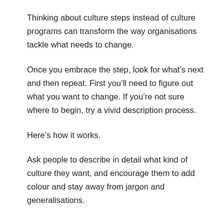Thinking about culture steps instead of culture programs can transform the way organisations tackle what needs to change.
Once you embrace the step, look for what’s next and then repeat. First you’ll need to figure out what you want to change. If you’re not sure where to begin, try a vivid description process.
Here’s how it works.
Ask people to describe in detail what kind of culture they want, and encourage them to add colour and stay away from jargon and generalisations.